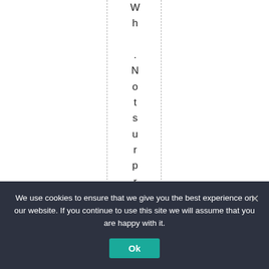[Figure (other): White page area with two dashed vertical guide lines, between which vertical text reads 'Wh .Notsurprisingly' with each character on its own line]
Wh .Not surprisingly
We use cookies to ensure that we give you the best experience on our website. If you continue to use this site we will assume that you are happy with it.
Ok